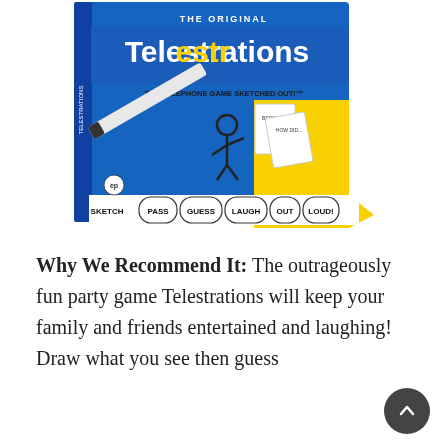[Figure (photo): Product photo of the Telestrations board game box. The box features a blue background with the title 'Telestrations – The Telephone Game Sketched Out!' in large stylized text. A stick figure character is shown drawing, with game step labels at the bottom: SKETCH, PASS, GUESS, LAUGH, OUT, LOUD!]
Why We Recommend It: The outrageously fun party game Telestrations will keep your family and friends entertained and laughing! Draw what you see then guess